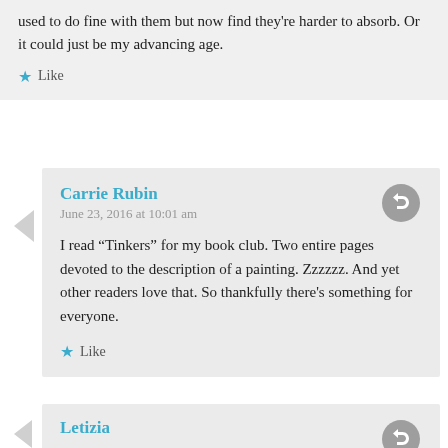used to do fine with them but now find they’re harder to absorb. Or it could just be my advancing age.
★ Like
Carrie Rubin
June 23, 2016 at 10:01 am
I read “Tinkers” for my book club. Two entire pages devoted to the description of a painting. Zzzzzz. And yet other readers love that. So thankfully there’s something for everyone.
★ Like
Letizia